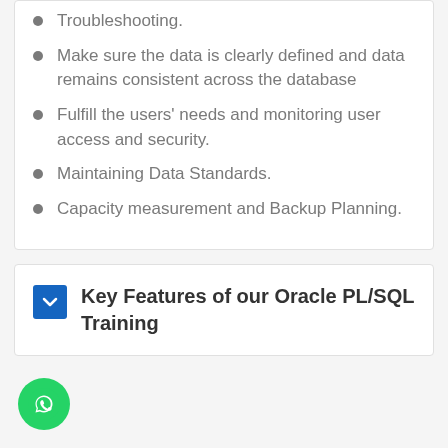Troubleshooting.
Make sure the data is clearly defined and data remains consistent across the database
Fulfill the users' needs and monitoring user access and security.
Maintaining Data Standards.
Capacity measurement and Backup Planning.
Key Features of our Oracle PL/SQL Training